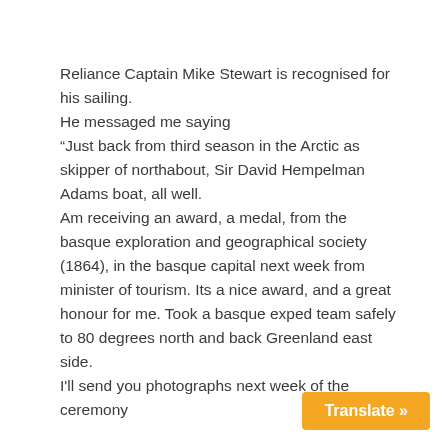Reliance Captain Mike Stewart is recognised for his sailing.
He messaged me saying
“Just back from third season in the Arctic as skipper of northabout, Sir David Hempelman Adams boat, all well.
Am receiving an award, a medal, from the basque exploration and geographical society (1864), in the basque capital next week from minister of tourism. Its a nice award, and a great honour for me. Took a basque exped team safely to 80 degrees north and back Greenland east side.
I'll send you photographs next week of the ceremony
Translate »